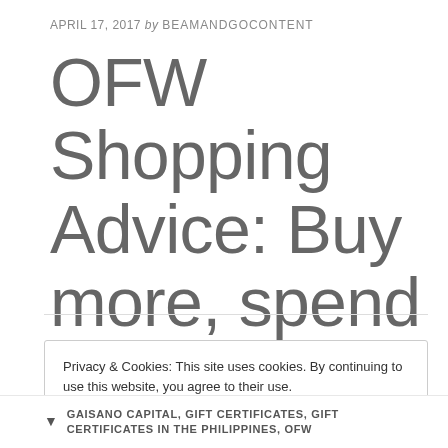APRIL 17, 2017 by BEAMANDGOCONTENT
OFW Shopping Advice: Buy more, spend less!
Privacy & Cookies: This site uses cookies. By continuing to use this website, you agree to their use.
To find out more, including how to control cookies, see here: Cookie Policy
Close and accept
GAISANO CAPITAL, GIFT CERTIFICATES, GIFT CERTIFICATES IN THE PHILIPPINES, OFW